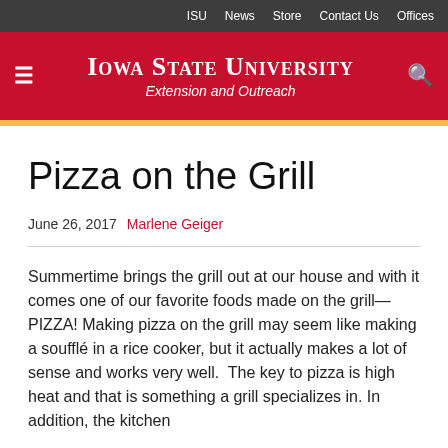ISU  News  Store  Contact Us  Offices
IOWA STATE UNIVERSITY Extension and Outreach
Pizza on the Grill
June 26, 2017  Marlene Geiger
Summertime brings the grill out at our house and with it comes one of our favorite foods made on the grill—PIZZA! Making pizza on the grill may seem like making a soufflé in a rice cooker, but it actually makes a lot of sense and works very well.  The key to pizza is high heat and that is something a grill specializes in. In addition, the kitchen